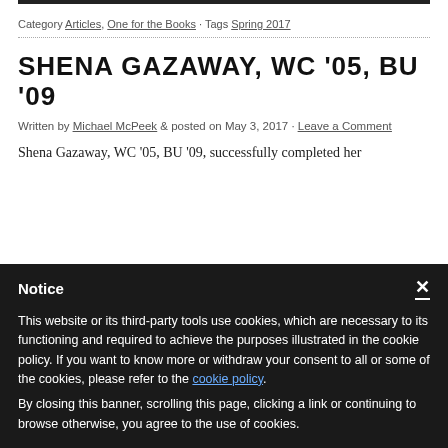Category Articles, One for the Books · Tags Spring 2017
SHENA GAZAWAY, WC '05, BU '09
Written by Michael McPeek & posted on May 3, 2017 · Leave a Comment
Shena Gazaway, WC '05, BU '09, successfully completed her
Notice
This website or its third-party tools use cookies, which are necessary to its functioning and required to achieve the purposes illustrated in the cookie policy. If you want to know more or withdraw your consent to all or some of the cookies, please refer to the cookie policy. By closing this banner, scrolling this page, clicking a link or continuing to browse otherwise, you agree to the use of cookies.